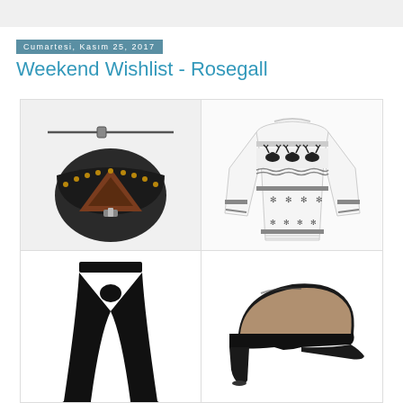Cumartesi, Kasım 25, 2017
Weekend Wishlist - Rosegall
[Figure (photo): A black leather crossbody bag with studded flap and brown triangular design detail, shown on white/grey background]
[Figure (photo): A white Nordic/Fair Isle knit Christmas sweater with reindeer and snowflake patterns, long sleeves with stripe details]
[Figure (photo): Black wide-leg palazzo pants shown on white background]
[Figure (photo): Black pointed-toe high heel court shoes / pumps with beige insole visible]